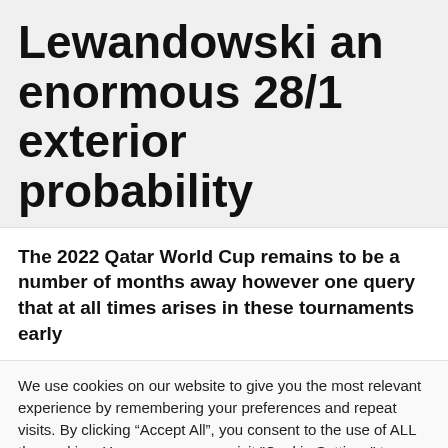Lewandowski an enormous 28/1 exterior probability
The 2022 Qatar World Cup remains to be a number of months away however one query that at all times arises in these tournaments early
We use cookies on our website to give you the most relevant experience by remembering your preferences and repeat visits. By clicking “Accept All”, you consent to the use of ALL the cookies. However, you may visit "Cookie Settings" to provide a controlled consent.
Cookie Settings | Accept All